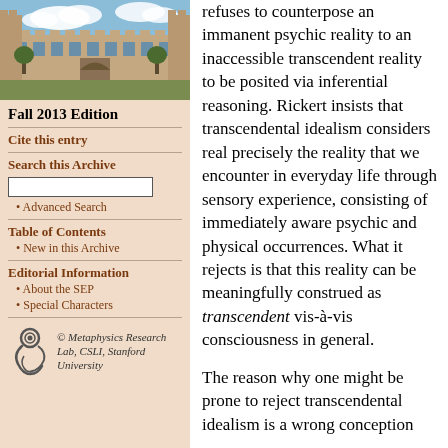[Figure (photo): Photograph of a university building with sandstone architecture and blue sky with clouds]
Fall 2013 Edition
Cite this entry
Search this Archive
Advanced Search
Table of Contents
New in this Archive
Editorial Information
About the SEP
Special Characters
© Metaphysics Research Lab, CSLI, Stanford University
refuses to counterpose an immanent psychic reality to an inaccessible transcendent reality to be posited via inferential reasoning. Rickert insists that transcendental idealism considers real precisely the reality that we encounter in everyday life through sensory experience, consisting of immediately aware psychic and physical occurrences. What it rejects is that this reality can be meaningfully construed as transcendent vis-à-vis consciousness in general.
The reason why one might be prone to reject transcendental idealism is a wrong conception of what the whole reality truly...